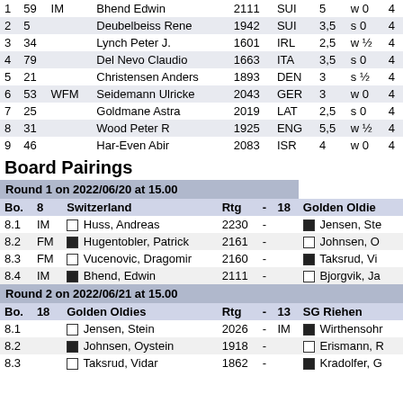| # | No | Title | Name | Rtg | FED | Pts | Result | Rd |
| --- | --- | --- | --- | --- | --- | --- | --- | --- |
| 1 | 59 | IM | Bhend Edwin | 2111 | SUI | 5 | w 0 | 4 |
| 2 | 5 |  | Deubelbeiss Rene | 1942 | SUI | 3,5 | s 0 | 4 |
| 3 | 34 |  | Lynch Peter J. | 1601 | IRL | 2,5 | w ½ | 4 |
| 4 | 79 |  | Del Nevo Claudio | 1663 | ITA | 3,5 | s 0 | 4 |
| 5 | 21 |  | Christensen Anders | 1893 | DEN | 3 | s ½ | 4 |
| 6 | 53 | WFM | Seidemann Ulricke | 2043 | GER | 3 | w 0 | 4 |
| 7 | 25 |  | Goldmane Astra | 2019 | LAT | 2,5 | s 0 | 4 |
| 8 | 31 |  | Wood Peter R | 1925 | ENG | 5,5 | w ½ | 4 |
| 9 | 46 |  | Har-Even Abir | 2083 | ISR | 4 | w 0 | 4 |
Board Pairings
| Bo. | 8 | Switzerland | Rtg | - | 18 | Golden Oldies |
| --- | --- | --- | --- | --- | --- | --- |
| 8.1 | IM | □ Huss, Andreas | 2230 | - |  | ■ Jensen, Ste |
| 8.2 | FM | ■ Hugentobler, Patrick | 2161 | - |  | □ Johnsen, O |
| 8.3 | FM | □ Vucenovic, Dragomir | 2160 | - |  | ■ Taksrud, Vi |
| 8.4 | IM | ■ Bhend, Edwin | 2111 | - |  | □ Bjorgvik, Ja |
| Bo. | 18 | Golden Oldies | Rtg | - | 13 | SG Riehen |
| --- | --- | --- | --- | --- | --- | --- |
| 8.1 |  | □ Jensen, Stein | 2026 | - | IM | ■ Wirthensohr |
| 8.2 |  | ■ Johnsen, Oystein | 1918 | - |  | □ Erismann, R |
| 8.3 |  | □ Taksrud, Vidar | 1862 | - |  | ■ Kradolfer, G |